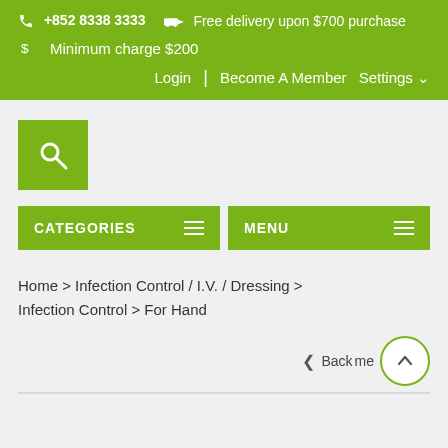+852 8338 3333   Free delivery upon $700 purchase
Minimum charge $200
Login | Become A Member Settings
[Figure (other): Green search button with magnifying glass icon]
CATEGORIES   MENU
Home > Infection Control / I.V. / Dressing > Infection Control > For Hand
< Back   (scroll to top button)